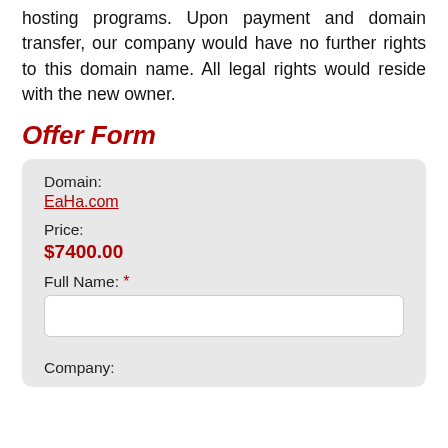hosting programs. Upon payment and domain transfer, our company would have no further rights to this domain name. All legal rights would reside with the new owner.
Offer Form
| Domain: | EaHa.com |
| Price: | $7400.00 |
| Full Name: * |  |
| Company: |  |